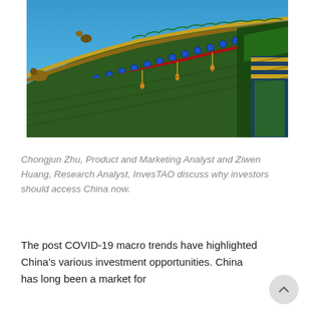[Figure (photo): Close-up photograph of a colorful traditional Chinese temple roof with ornate decorations in green, red, gold, and blue against a clear blue sky.]
Chongjun Zhu, Product and Marketing Analyst and Ziwen Huang, Research Analyst, InvesTAO discuss why investors should access China now.
The post COVID-19 macro trends have highlighted China's various investment opportunities. China has long been a market for